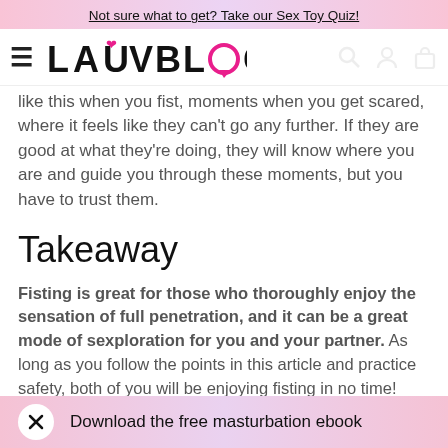Not sure what to get? Take our Sex Toy Quiz!
[Figure (logo): LAUVBLOG logo with pink heart above U and pink speech bubble as O, hamburger menu icon, and navigation icons for search, account, and bag]
like this when you fist, moments when you get scared, where it feels like they can't go any further. If they are good at what they're doing, they will know where you are and guide you through these moments, but you have to trust them.
Takeaway
Fisting is great for those who thoroughly enjoy the sensation of full penetration, and it can be a great mode of sexploration for you and your partner. As long as you follow the points in this article and practice safety, both of you will be enjoying fisting in no time!
Download the free masturbation ebook